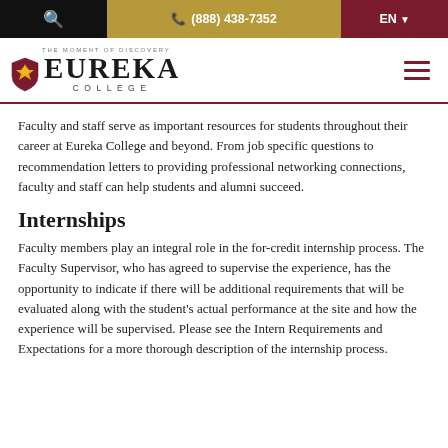🔍  📞 (888) 438-7352  EN ▾
[Figure (logo): Eureka College logo with shield and text 'THE MOMENT OF DISCOVERY EUREKA COLLEGE']
Faculty and staff serve as important resources for students throughout their career at Eureka College and beyond. From job specific questions to recommendation letters to providing professional networking connections, faculty and staff can help students and alumni succeed.
Internships
Faculty members play an integral role in the for-credit internship process. The Faculty Supervisor, who has agreed to supervise the experience, has the opportunity to indicate if there will be additional requirements that will be evaluated along with the student's actual performance at the site and how the experience will be supervised. Please see the Intern Requirements and Expectations for a more thorough description of the internship process.